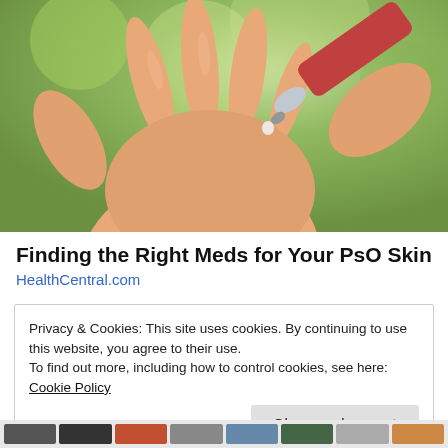[Figure (photo): Close-up photo of a hand with open palm, and another hand squeezing cream from a silver tube onto the palm. Green blurred background suggesting outdoor setting.]
Finding the Right Meds for Your PsO Skin
HealthCentral.com
Privacy & Cookies: This site uses cookies. By continuing to use this website, you agree to their use.
To find out more, including how to control cookies, see here: Cookie Policy
Close and accept